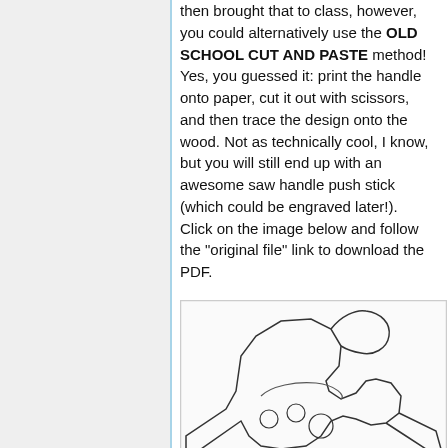then brought that to class, however, you could alternatively use the OLD SCHOOL CUT AND PASTE method! Yes, you guessed it: print the handle onto paper, cut it out with scissors, and then trace the design onto the wood. Not as technically cool, I know, but you will still end up with an awesome saw handle push stick (which could be engraved later!). Click on the image below and follow the "original file" link to download the PDF.
[Figure (illustration): Line drawing / outline illustration of a saw handle push stick shape, showing the contour of the handle with several circular holes/markings.]